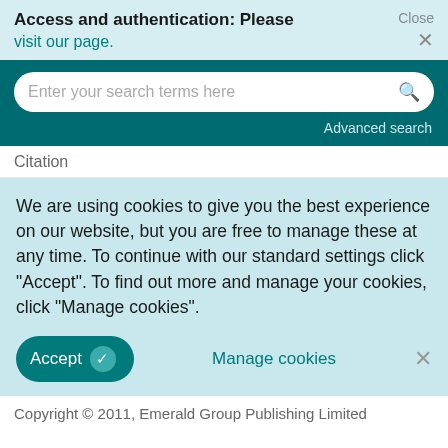Access and authentication: Please visit our page.
[Figure (screenshot): Search bar with placeholder text 'Enter your search terms here' and a magnifying glass icon, on teal background with 'Advanced search' link]
Citation
We are using cookies to give you the best experience on our website, but you are free to manage these at any time. To continue with our standard settings click "Accept". To find out more and manage your cookies, click "Manage cookies".
Accept  Manage cookies  ×
Copyright © 2011, Emerald Group Publishing Limited